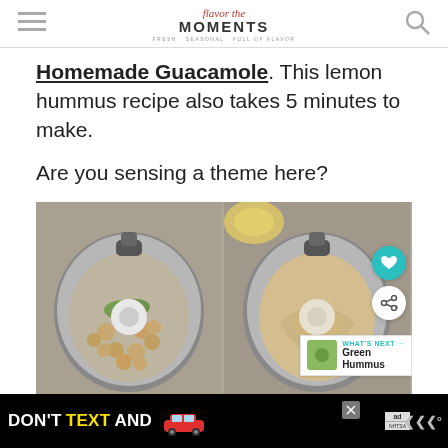Flavor the Moments — FRESH. SEASONAL. FULL OF FLAVOR.
Homemade Guacamole.  This lemon hummus recipe also takes 5 minutes to make.
Are you sensing a theme here?
[Figure (photo): Two-panel food photo: left panel shows a food processor bowl with chickpeas and fresh herbs; right panel shows the same bowl with blended smooth hummus. Action buttons (heart, share) and a 'WHAT'S NEXT → Green Hummus' overlay visible on the right panel.]
[Figure (other): Advertisement banner: black background with text 'DON'T TEXT AND' in white and yellow, a red car illustration, an ad badge (ad/NHTSA), and a close button.]